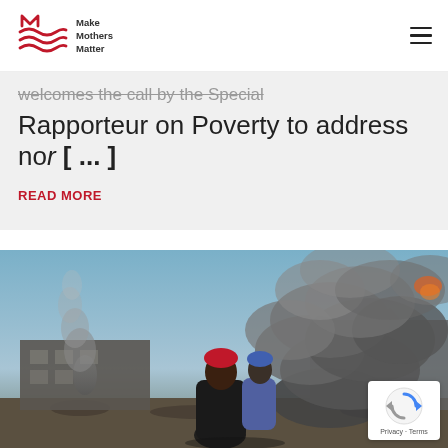Make Mothers Matter — navigation bar with logo and hamburger menu
welcomes the call by the Special
Rapporteur on Poverty to address nor [ ... ]
READ MORE
[Figure (photo): A person in a dark jacket holding a small child, both seen from behind, standing in front of a destroyed industrial building with large plumes of dark smoke rising into a blue-grey sky. Debris and rubble visible on the ground.]